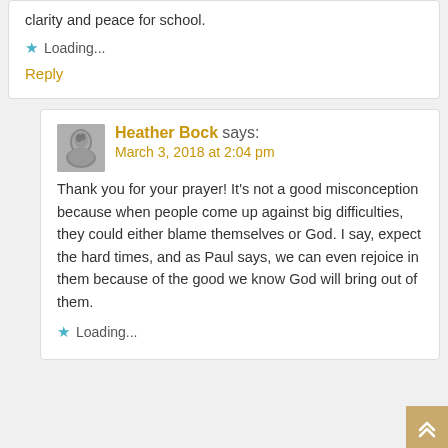clarity and peace for school.
Loading...
Reply
Heather Bock says:
March 3, 2018 at 2:04 pm
Thank you for your prayer! It's not a good misconception because when people come up against big difficulties, they could either blame themselves or God. I say, expect the hard times, and as Paul says, we can even rejoice in them because of the good we know God will bring out of them.
Loading...